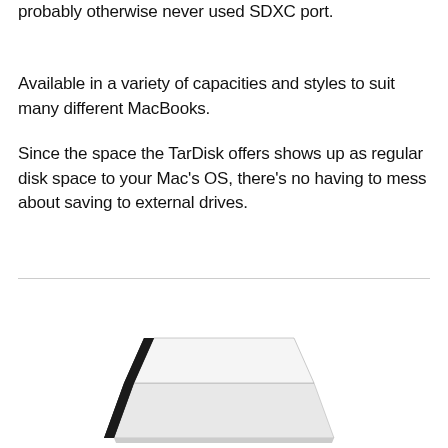probably otherwise never used SDXC port.
Available in a variety of capacities and styles to suit many different MacBooks.
Since the space the TarDisk offers shows up as regular disk space to your Mac's OS, there's no having to mess about saving to external drives.
[Figure (photo): A TarDisk storage device shown at an angle, appears to be a slim black and white card or drive.]